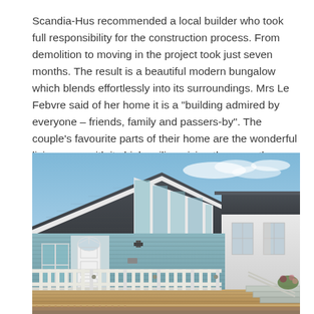Scandia-Hus recommended a local builder who took full responsibility for the construction process. From demolition to moving in the project took just seven months. The result is a beautiful modern bungalow which blends effortlessly into its surroundings. Mrs Le Febvre said of her home it is a "building admired by everyone – friends, family and passers-by". The couple's favourite parts of their home are the wonderful living room with its high ceiling giving the room the wow factor, the open plan style allows plenty of light to flood in and their bedroom which benefits from a dual aspect and generously sized ensuite bathroom.
[Figure (photo): Exterior photograph of a modern bungalow with blue-green clapboard siding, dark grey roof tiles, large angled windows on the gable end, a white front door with a fan-light window above it, and a wooden deck with white railings in the foreground. A neighbouring white-sided house is visible on the right. Blue sky with light clouds in the background.]